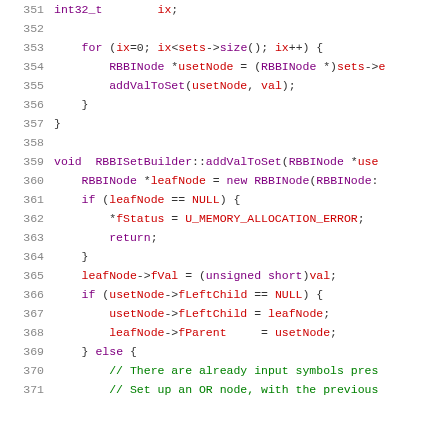[Figure (screenshot): Source code listing in C++ showing lines 351-371 of a file. Code includes a for loop iterating over sets, calling addValToSet, and the beginning of the RBBISetBuilder::addValToSet function definition with NULL checks and node assignments. Syntax highlighted with line numbers.]